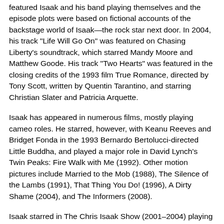featured Isaak and his band playing themselves and the episode plots were based on fictional accounts of the backstage world of Isaak—the rock star next door. In 2004, his track "Life Will Go On" was featured on Chasing Liberty's soundtrack, which starred Mandy Moore and Matthew Goode. His track "Two Hearts" was featured in the closing credits of the 1993 film True Romance, directed by Tony Scott, written by Quentin Tarantino, and starring Christian Slater and Patricia Arquette.
Isaak has appeared in numerous films, mostly playing cameo roles. He starred, however, with Keanu Reeves and Bridget Fonda in the 1993 Bernardo Bertolucci-directed Little Buddha, and played a major role in David Lynch's Twin Peaks: Fire Walk with Me (1992). Other motion pictures include Married to the Mob (1988), The Silence of the Lambs (1991), That Thing You Do! (1996), A Dirty Shame (2004), and The Informers (2008).
Isaak starred in The Chris Isaak Show (2001–2004) playing himself and featuring actual members of his band along with actors and celebrity guests.
He guest-starred on the "The One After the Superbowl, Part One", the Super Bowl XXX edition of the television sitcom Friends; and on the HBO miniseries, From the Earth to the Moon, as astronaut